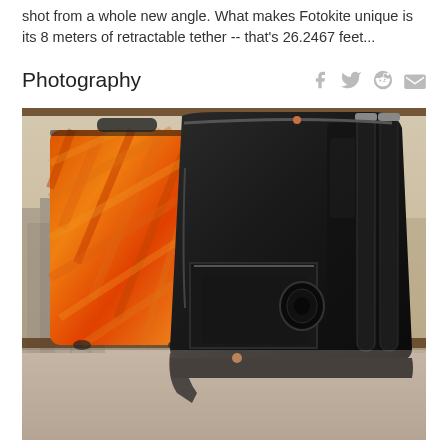shot from a whole new angle. What makes Fotokite unique is its 8 meters of retractable tether -- that's 26.2467 feet...
Photography
[Figure (photo): Two backpacks photographed in front of a city skyline. The foreground shows a large black backpack with straps, pockets, and a circular lens holder. In the background to the left is a colorful orange-patterned backpack. The city skyline (resembling New York) is visible through a window behind them, with the Empire State Building visible on the right.]